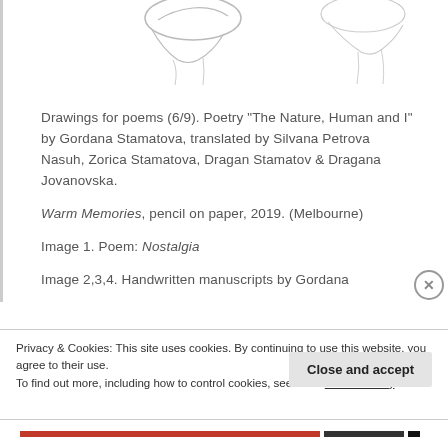[Figure (illustration): Partial view of pencil sketch drawings at the top of the page, showing outlines of figures on white background.]
Drawings for poems (6/9). Poetry “The Nature, Human and I” by Gordana Stamatova, translated by Silvana Petrova Nasuh, Zorica Stamatova, Dragan Stamatov & Dragana Jovanovska.
Warm Memories, pencil on paper, 2019. (Melbourne)
Image 1. Poem: Nostalgia
Image 2,3,4. Handwritten manuscripts by Gordana
Privacy & Cookies: This site uses cookies. By continuing to use this website, you agree to their use.
To find out more, including how to control cookies, see here: Cookie Policy
Close and accept